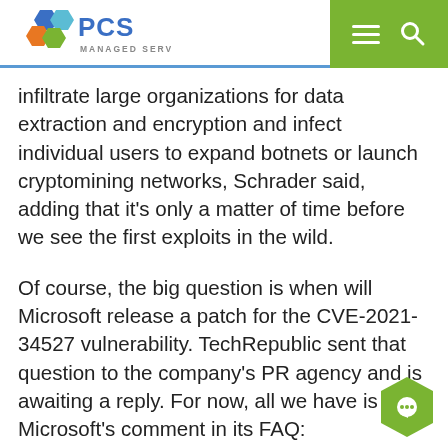PCS Managed Services
infiltrate large organizations for data extraction and encryption and infect individual users to expand botnets or launch cryptomining networks, Schrader said, adding that it's only a matter of time before we see the first exploits in the wild.
Of course, the big question is when will Microsoft release a patch for the CVE-2021-34527 vulnerability. TechRepublic sent that question to the company's PR agency and is awaiting a reply. For now, all we have is Microsoft's comment in its FAQ: